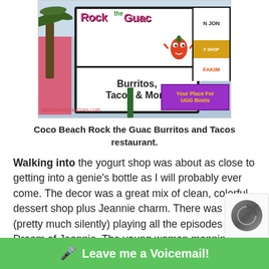[Figure (photo): Outdoor sign for 'Rock the Guac' restaurant in Coco Beach showing 'Burritos, Tacos & More' sign, with Ron Jon Surf Shop sign visible to the right and a purple UGG Boots banner. Pink building and palm tree visible. Watermark reads dailyimprovisations.com]
Coco Beach Rock the Guac Burritos and Tacos restaurant.
Walking into the yogurt shop was about as close to getting into a genie’s bottle as I will probably ever come. The decor was a great mix of clean, colorful dessert shop plus Jeannie charm. There was a TV (pretty much silently) playing all the episodes of I Dream of Jeannie. The young woman manning the shop said with a knowing